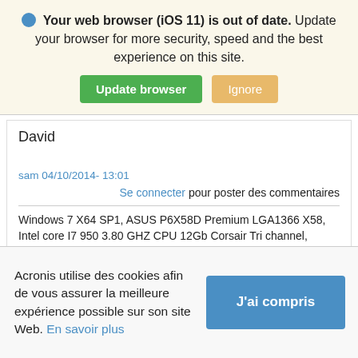Your web browser (iOS 11) is out of date. Update your browser for more security, speed and the best experience on this site.
Update browser | Ignore
David
sam 04/10/2014- 13:01
Se connecter pour poster des commentaires
Windows 7 X64 SP1, ASUS P6X58D Premium LGA1366 X58, Intel core I7 950 3.80 GHZ CPU 12Gb Corsair Tri channel, Corsair H70 Water
Acronis utilise des cookies afin de vous assurer la meilleure expérience possible sur son site Web. En savoir plus
J'ai compris